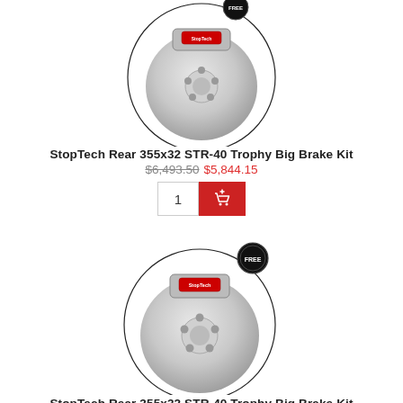[Figure (photo): StopTech brake rotor and caliper product image in a circular frame with a badge at top]
StopTech Rear 355x32 STR-40 Trophy Big Brake Kit
$6,493.50 $5,844.15
[Figure (photo): StopTech brake rotor and caliper product image in a circular frame with a FREE badge]
StopTech Rear 355x32 STR-40 Trophy Big Brake Kit
$6,493.50 $5,844.15